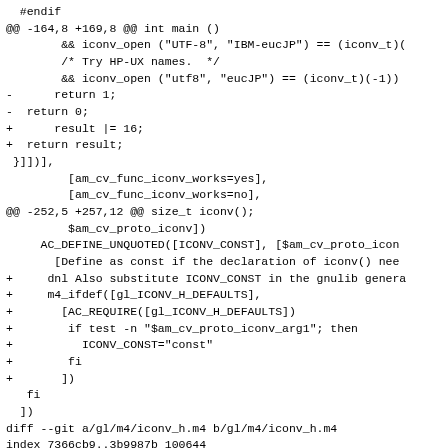#endif
@@ -164,8 +169,8 @@ int main ()
        && iconv_open ("UTF-8", "IBM-eucJP") == (iconv_t)(
        /* Try HP-UX names.  */
        && iconv_open ("utf8", "eucJP") == (iconv_t)(-1))
-      return 1;
-  return 0;
+      result |= 16;
+  return result;
 }]])],
         [am_cv_func_iconv_works=yes],
         [am_cv_func_iconv_works=no],
@@ -252,5 +257,12 @@ size_t iconv();
         $am_cv_proto_iconv])
     AC_DEFINE_UNQUOTED([ICONV_CONST], [$am_cv_proto_ico
       [Define as const if the declaration of iconv() ne
+     dnl Also substitute ICONV_CONST in the gnulib genera
+     m4_ifdef([gl_ICONV_H_DEFAULTS],
+       [AC_REQUIRE([gl_ICONV_H_DEFAULTS])
+        if test -n "$am_cv_proto_iconv_arg1"; then
+          ICONV_CONST="const"
+        fi
+       ])
   fi
 ])
diff --git a/gl/m4/iconv_h.m4 b/gl/m4/iconv_h.m4
index 7366cb9..3b9987b 100644
--- a/gl/m4/iconv_h.m4
+++ b/gl/m4/iconv_h.m4
@@ -1,4 +1,4 @@